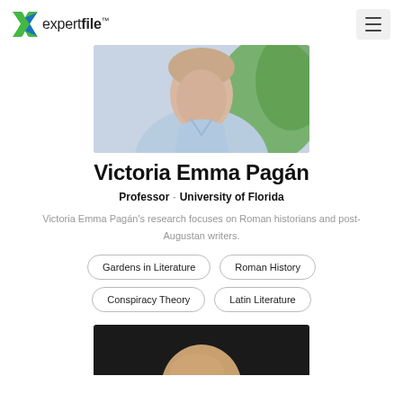expertfile
[Figure (photo): Portrait photo of Victoria Emma Pagán wearing a light blue shirt, with green foliage in the background]
Victoria Emma Pagán
Professor · University of Florida
Victoria Emma Pagán's research focuses on Roman historians and post-Augustan writers.
Gardens in Literature
Roman History
Conspiracy Theory
Latin Literature
[Figure (photo): Partial portrait photo of another person with dark background, showing top of head]